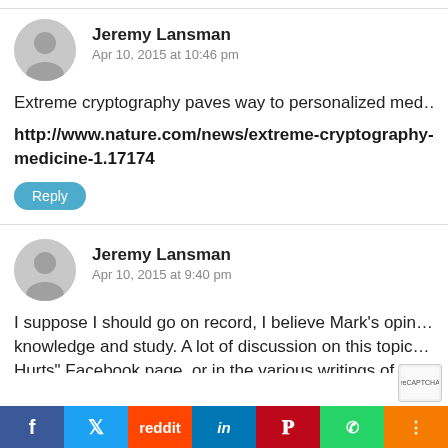Jeremy Lansman
Apr 10, 2015 at 10:46 pm
Extreme cryptography paves way to personalized med…
http://www.nature.com/news/extreme-cryptography-pa… medicine-1.17174
Reply
Jeremy Lansman
Apr 10, 2015 at 9:40 pm
I suppose I should go on record, I believe Mark's opin… knowledge and study. A lot of discussion on this topic… Hurts" Facebook page, or in the various writings of Dr…